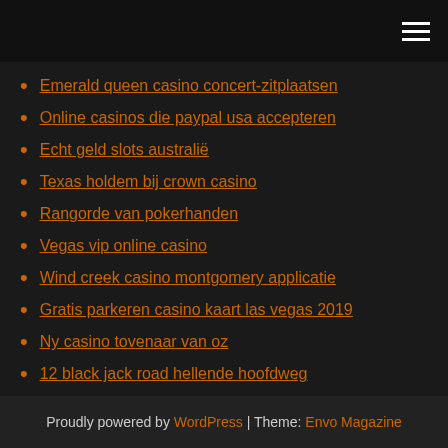hamburger menu icon
Emerald queen casino concert-zitplaatsen
Online casinos die paypal usa accepteren
Echt geld slots australië
Texas holdem bij crown casino
Rangorde van pokerhanden
Vegas vip online casino
Wind creek casino montgomery applicatie
Gratis parkeren casino kaart las vegas 2019
Ny casino tovenaar van oz
12 black jack road hellende hoofdweg
Zynga poker .exe gratis download
Proudly powered by WordPress | Theme: Envo Magazine